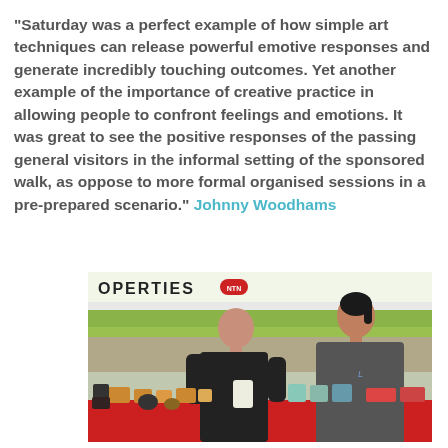"Saturday was a perfect example of how simple art techniques can release powerful emotive responses and generate incredibly touching outcomes. Yet another example of the importance of creative practice in allowing people to confront feelings and emotions. It was great to see the positive responses of the passing general visitors in the informal setting of the sponsored walk, as oppose to more formal organised sessions in a pre-prepared scenario." Johnny Woodhams
[Figure (photo): Outdoor market stall photo showing two people at a table under a white tent/awning with 'OPERTIES' text visible. A bald man in a black shirt on the left and a person with dark hair in a grey shirt on the right. Table has various items on it. Green grass visible in background.]